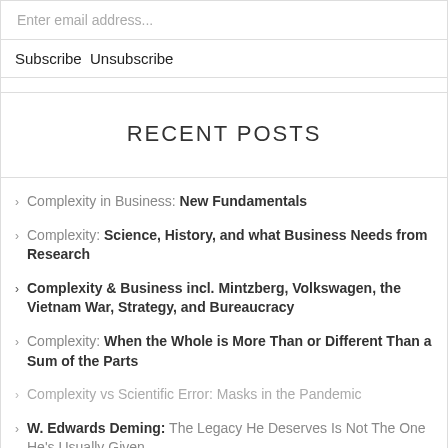Enter email address...
Subscribe Unsubscribe
RECENT POSTS
Complexity in Business: New Fundamentals
Complexity: Science, History, and what Business Needs from Research
Complexity & Business incl. Mintzberg, Volkswagen, the Vietnam War, Strategy, and Bureaucracy
Complexity: When the Whole is More Than or Different Than a Sum of the Parts
Complexity vs Scientific Error: Masks in the Pandemic
W. Edwards Deming: The Legacy He Deserves Is Not The One He's Usually Given